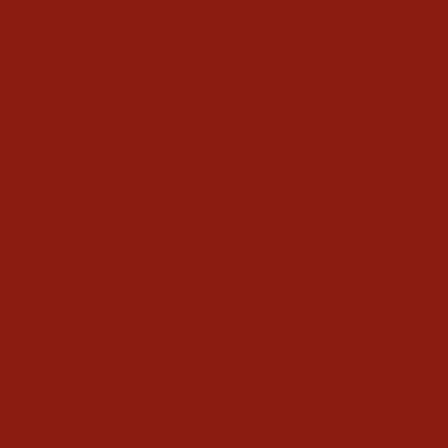[Figure (illustration): A dark red/maroon background page with a darker vertical strip in the center-right area containing large white text reading: "this way." However, there is a setting. There is a local culture with]
“this way.” However, there is a setting. There is a local culture with